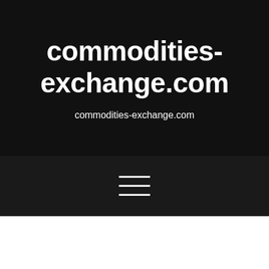commodities-exchange.com
commodities-exchange.com
[Figure (other): Hamburger menu icon with three horizontal white lines on dark background]